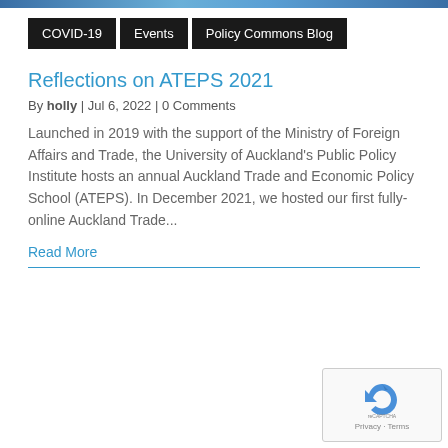[Figure (screenshot): Top banner strip of website header, partially visible]
COVID-19  Events  Policy Commons Blog
Reflections on ATEPS 2021
By holly | Jul 6, 2022 | 0 Comments
Launched in 2019 with the support of the Ministry of Foreign Affairs and Trade, the University of Auckland's Public Policy Institute hosts an annual Auckland Trade and Economic Policy School (ATEPS). In December 2021, we hosted our first fully-online Auckland Trade...
Read More
[Figure (screenshot): reCAPTCHA badge with recycling arrow logo and Privacy · Terms text]